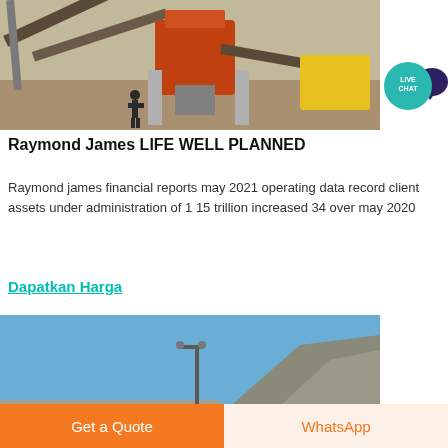[Figure (photo): Industrial mining/quarry equipment — conveyors, a large orange crusher, concrete pillars, a worker standing in foreground, arid landscape]
[Figure (logo): Live Chat badge — teal circle with 'LIVE CHAT' text and a dark speech-bubble icon]
Raymond James LIFE WELL PLANNED
Raymond james financial reports may 2021 operating data record client assets under administration of 1 15 trillion increased 34 over may 2020
Dapatkan Harga
[Figure (photo): Outdoor quarry or mining site with a tall lamp post, blue sky, rocky hillside in background]
Get a Quote
WhatsApp